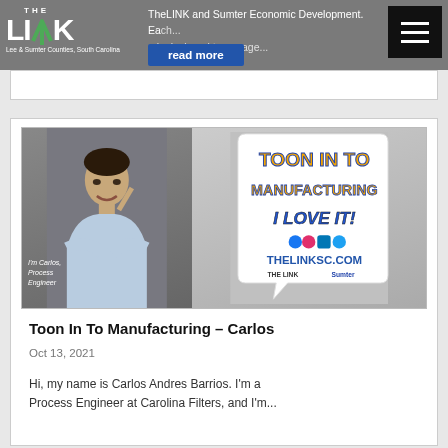THE LINK and Sumter Economic Development. Each... is designed to engage...
read more
[Figure (photo): Promotional image for Toon In To Manufacturing campaign. A man (Carlos, Process Engineer) posed in front of a speech bubble saying TOON IN TO MANUFACTURING I LOVE IT! with THELINKSC.COM logo and The Link / Sumter logos.]
Toon In To Manufacturing – Carlos
Oct 13, 2021
Hi, my name is Carlos Andres Barrios. I'm a Process Engineer at Carolina Filters, and I'm...